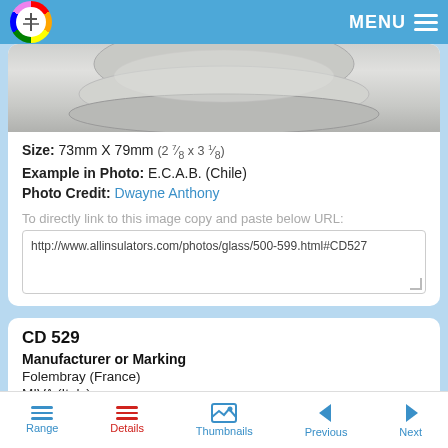MENU
[Figure (photo): Partial view of a glass insulator, showing the dome and base of a CD 527 type insulator in smoky gray glass]
Size: 73mm X 79mm (2 ⅞ x 3 ⅛)
Example in Photo: E.C.A.B. (Chile)
Photo Credit: Dwayne Anthony
To directly link to this image copy and paste below URL:
http://www.allinsulators.com/photos/glass/500-599.html#CD527
CD 529
Manufacturer or Marking
Folembray (France)
MIVA (Italy)
Telefoni Delle Stato (Italy)
Range   Details   Thumbnails   Previous   Next